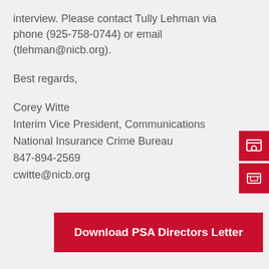interview. Please contact Tully Lehman via phone (925-758-0744) or email (tlehman@nicb.org).
Best regards,
Corey Witte
Interim Vice President, Communications
National Insurance Crime Bureau
847-894-2569
cwitte@nicb.org
[Figure (other): Two red square social media/contact icon buttons on the right side of the page]
Download PSA Directors Letter